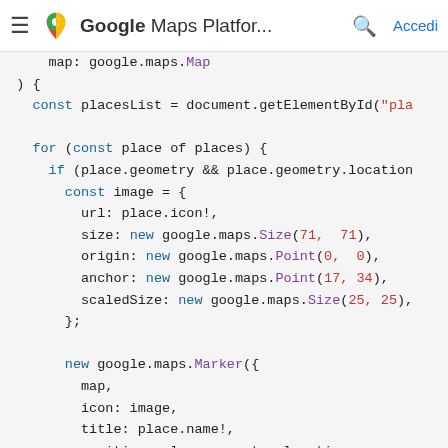Google Maps Platform... Accedi
[Figure (screenshot): Code snippet showing JavaScript for Google Maps Platform with syntax highlighting. Shows map initialization, places list retrieval, for loop iterating over places, image object definition with url/size/origin/anchor/scaledSize, and new google.maps.Marker creation.]